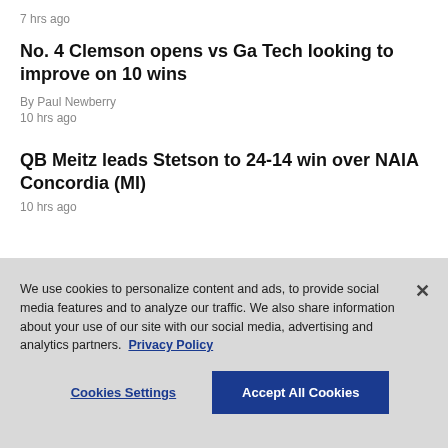7 hrs ago
No. 4 Clemson opens vs Ga Tech looking to improve on 10 wins
By Paul Newberry
10 hrs ago
QB Meitz leads Stetson to 24-14 win over NAIA Concordia (MI)
10 hrs ago
We use cookies to personalize content and ads, to provide social media features and to analyze our traffic. We also share information about your use of our site with our social media, advertising and analytics partners. Privacy Policy
Cookies Settings
Accept All Cookies